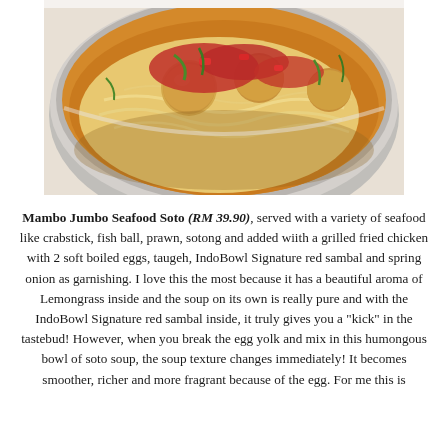[Figure (photo): A bowl of Mambo Jumbo Seafood Soto — noodles, fish balls, red sambal sauce, and green onions in a silver pot]
Mambo Jumbo Seafood Soto (RM 39.90), served with a variety of seafood like crabstick, fish ball, prawn, sotong and added wiith a grilled fried chicken with 2 soft boiled eggs, taugeh, IndoBowl Signature red sambal and spring onion as garnishing. I love this the most because it has a beautiful aroma of Lemongrass inside and the soup on its own is really pure and with the IndoBowl Signature red sambal inside, it truly gives you a "kick" in the tastebud! However, when you break the egg yolk and mix in this humongous bowl of soto soup, the soup texture changes immediately! It becomes smoother, richer and more fragrant because of the egg. For me this is